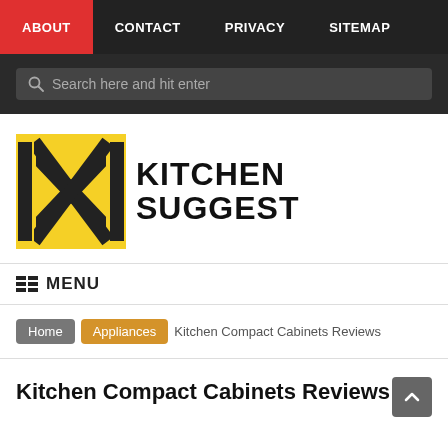ABOUT | CONTACT | PRIVACY | SITEMAP
[Figure (screenshot): Search bar with placeholder text 'Search here and hit enter']
[Figure (logo): Kitchen Suggest logo: yellow square with black X graphic and bold text KITCHEN SUGGEST]
MENU
Home > Appliances > Kitchen Compact Cabinets Reviews
Kitchen Compact Cabinets Reviews